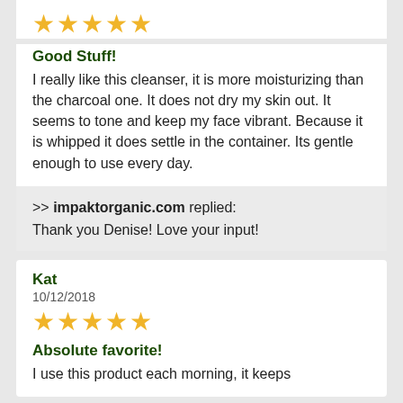[Figure (other): 5 yellow star rating icons]
Good Stuff!
I really like this cleanser, it is more moisturizing than the charcoal one. It does not dry my skin out. It seems to tone and keep my face vibrant. Because it is whipped it does settle in the container. Its gentle enough to use every day.
>> impaktorganic.com replied: Thank you Denise! Love your input!
Kat
10/12/2018
[Figure (other): 5 yellow star rating icons]
Absolute favorite!
I use this product each morning, it keeps